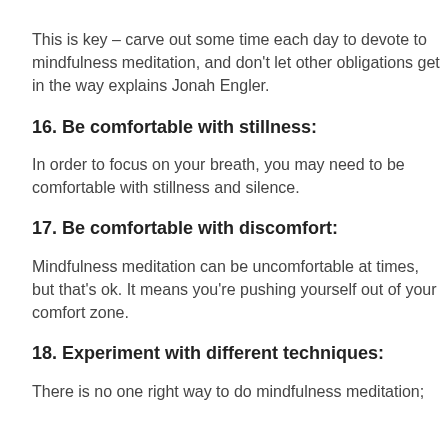This is key – carve out some time each day to devote to mindfulness meditation, and don't let other obligations get in the way explains Jonah Engler.
16. Be comfortable with stillness:
In order to focus on your breath, you may need to be comfortable with stillness and silence.
17. Be comfortable with discomfort:
Mindfulness meditation can be uncomfortable at times, but that's ok. It means you're pushing yourself out of your comfort zone.
18. Experiment with different techniques:
There is no one right way to do mindfulness meditation;